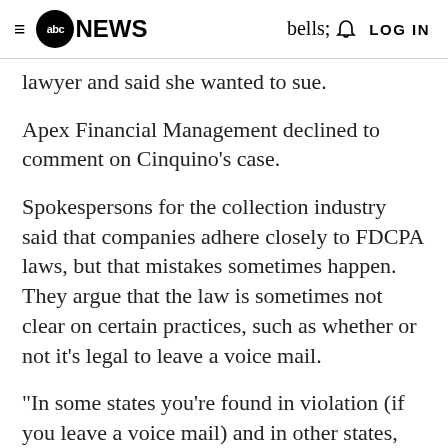≡ abcNEWS  🔔  LOG IN
lawyer and said she wanted to sue.
Apex Financial Management declined to comment on Cinquino's case.
Spokespersons for the collection industry said that companies adhere closely to FDCPA laws, but that mistakes sometimes happen. They argue that the law is sometimes not clear on certain practices, such as whether or not it's legal to leave a voice mail.
"In some states you're found in violation (if you leave a voice mail) and in other states, it's